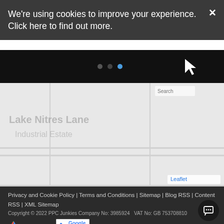We're using cookies to improve your experience. Click here to find out more.
[Figure (screenshot): Dark navigation bar with small dots/icons including a blue dot, and a white arrow cursor icon on the right]
[Figure (map): A Leaflet map showing a grey rendered map with text labels including 'Lake Nitres Lane' and 'Industrial Estate', a search box, and Leaflet attribution badge]
Privacy and Cookie Policy | Terms and Conditions | Sitemap | Blog RSS | Content RSS | XML Sitemap
Copyright © 2022 PPC Junkies Company No: 3985924   VAT No: GB 753708810